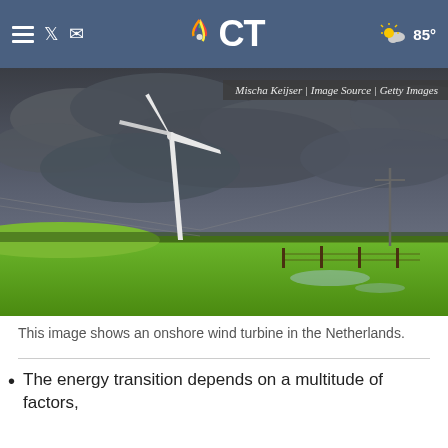NBC CT — 85°
[Figure (photo): Photograph of an onshore wind turbine in the Netherlands under a dramatic cloudy sky, with green fields in the foreground and power lines visible. Photo credit: Mischa Keijser | Image Source | Getty Images]
This image shows an onshore wind turbine in the Netherlands.
The energy transition depends on a multitude of factors,